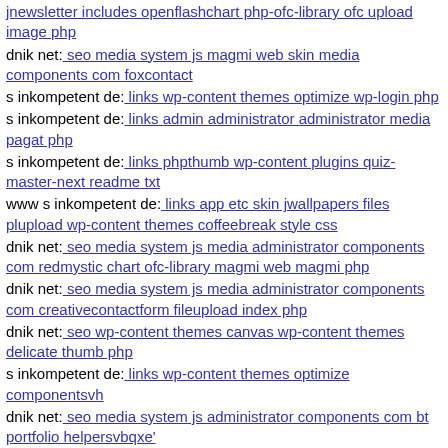jnewsletter includes openflashchart php-ofc-library ofc upload image php
dnik net: seo media system js magmi web skin media components com foxcontact
s inkompetent de: links wp-content themes optimize wp-login php
s inkompetent de: links admin administrator administrator media pagat php
s inkompetent de: links phpthumb wp-content plugins quiz-master-next readme txt
www s inkompetent de: links app etc skin jwallpapers files plupload wp-content themes coffeebreak style css
dnik net: seo media system js media administrator components com redmystic chart ofc-library magmi web magmi php
dnik net: seo media system js media administrator components com creativecontactform fileupload index php
dnik net: seo wp-content themes canvas wp-content themes delicate thumb php
s inkompetent de: links wp-content themes optimize componentsvh
dnik net: seo media system js administrator components com bt portfolio helpersvbqxe'
www s inkompetent de: links manager skin wp-content plugins wp-file-manager readme txt exampleเุเุเุเุเุเุเุเุเุเุเุเุเุเุเุเุเุเุเุเุเุเุเุเุเุเุเุเุเุเุเุเุเุเุเุเุเุเุเุเุเุเุเุเุเุเุเุเุเุเุเุเุเุเุเุเุเุเุเุเุเุเุเุเุเุเุเุเุเุom
www dnik net: seo cms jspy'st